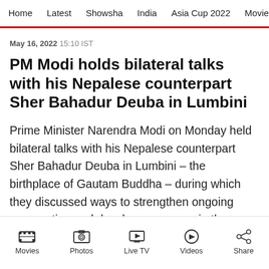Home  Latest  Showsha  India  Asia Cup 2022  Movies  Cricket
May 16, 2022 15:10 IST
PM Modi holds bilateral talks with his Nepalese counterpart Sher Bahadur Deuba in Lumbini
Prime Minister Narendra Modi on Monday held bilateral talks with his Nepalese counterpart Sher Bahadur Deuba in Lumbini – the birthplace of Gautam Buddha – during which they discussed ways to strengthen ongoing cooperation and develop new areas in the multifaceted bilateral
Movies  Photos  Live TV  Videos  Share